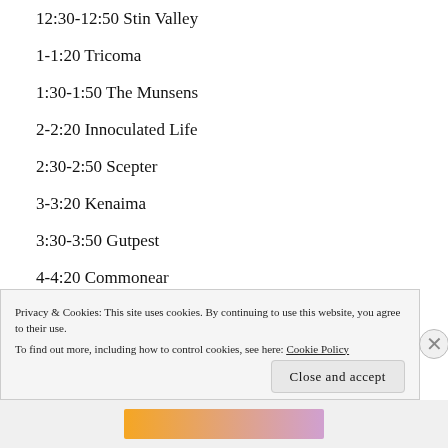12:30-12:50 Stin Valley
1-1:20 Tricoma
1:30-1:50 The Munsens
2-2:20 Innoculated Life
2:30-2:50 Scepter
3-3:20 Kenaima
3:30-3:50 Gutpest
4-4:20 Commonear
4:30-4:50 Remain & Sustain
5-5:20 Bonus Surprise!
5:30-5:50 Druids
6-6:20 Tower
Privacy & Cookies: This site uses cookies. By continuing to use this website, you agree to their use. To find out more, including how to control cookies, see here: Cookie Policy
Close and accept